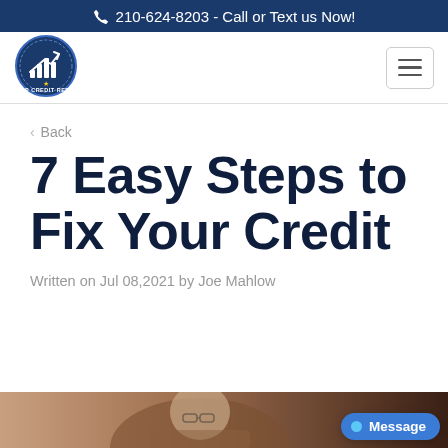210-624-8203 - Call or Text us Now!
[Figure (logo): ASAP Credit Repair circular badge logo with upward chart graphic]
< Back
7 Easy Steps to Fix Your Credit
Written on Jul 08,2021 by Joe Mahlow
[Figure (photo): Partial photo of a person at the bottom of the page]
Message